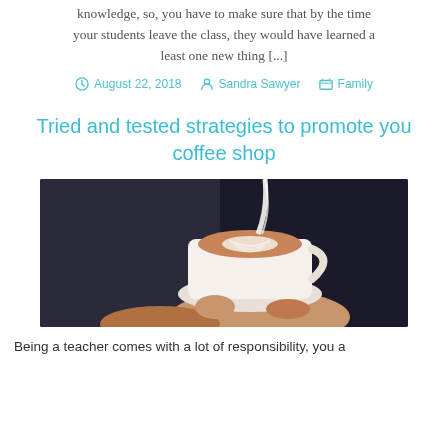knowledge, so, you have to make sure that by the time your students leave the class, they would have learned at least one new thing [...]
August 22, 2018  Sandra Sawyer  Family
Tried and tested strategies to promote your coffee shop
[Figure (photo): A hand holding a white cup of latte art coffee being poured from above, with a dark blurred background.]
Being a teacher comes with a lot of responsibility, you a...